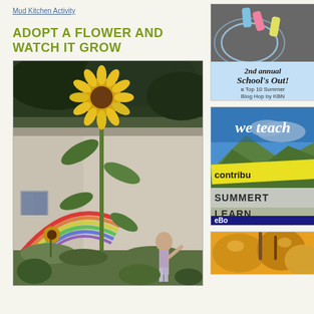Mud Kitchen Activity
ADOPT A FLOWER AND WATCH IT GROW
[Figure (photo): A tall sunflower growing in a garden beside a house with a rainbow mural painted on it. A young child stands in the garden looking up at the sunflower.]
[Figure (photo): Chalk drawings on pavement with sidewalk chalk pieces. Text reads: 2nd annual School's Out! a Top 10 Summer Blog Hop by KBN]
[Figure (photo): Promotional image reading: we teach, contribu[ting], SUMMERTI[ME], LEARN[ING], eBo[ok]]
[Figure (photo): Close-up image of fruit or food items, partially visible at bottom right]